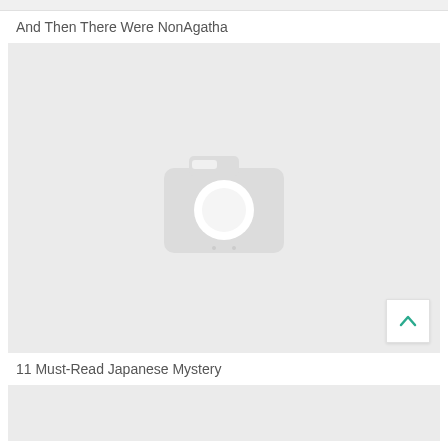And Then There Were NonAgatha
[Figure (photo): Image placeholder with camera icon - no image loaded]
11 Must-Read Japanese Mystery
[Figure (photo): Image placeholder - partially visible at bottom of page]